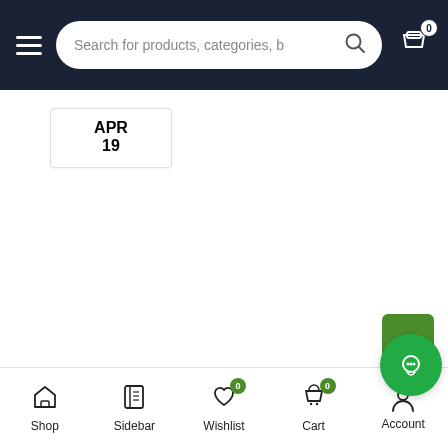[Figure (screenshot): Mobile e-commerce app top navigation bar with hamburger menu, search field reading 'Search for products, categories, b', search icon, and shopping cart icon with badge showing 0]
APR
19
[Figure (screenshot): Green scroll-to-top button (chevron up arrow) and green circular chat/account button in the lower right corner]
[Figure (screenshot): Bottom navigation bar with Shop, Sidebar, Wishlist (badge 0), Cart (badge 0), and Account icons]